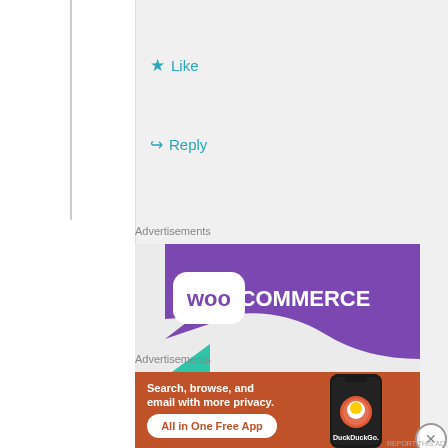Like
Reply
Advertisements
[Figure (illustration): WooCommerce advertisement banner — purple speech-bubble logo on grey background with green and teal accent shapes, text: 'How to start selling subscriptions online']
Advertisements
[Figure (illustration): DuckDuckGo advertisement banner — orange/burnt-red background with white text 'Search, browse, and email with more privacy. All in One Free App' and a smartphone showing DuckDuckGo app logo]